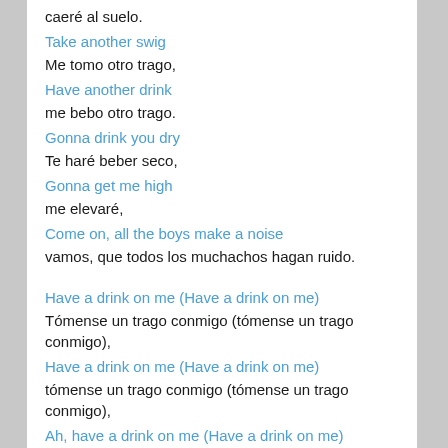caeré al suelo.
Take another swig
Me tomo otro trago,
Have another drink
me bebo otro trago.
Gonna drink you dry
Te haré beber seco,
Gonna get me high
me elevaré,
Come on, all the boys make a noise
vamos, que todos los muchachos hagan ruido.
Have a drink on me (Have a drink on me)
Tómense un trago conmigo (tómense un trago conmigo),
Have a drink on me (Have a drink on me)
tómense un trago conmigo (tómense un trago conmigo),
Ah, have a drink on me (Have a drink on me)
oh, tómense un trago conmigo (tómense un trago conmigo)